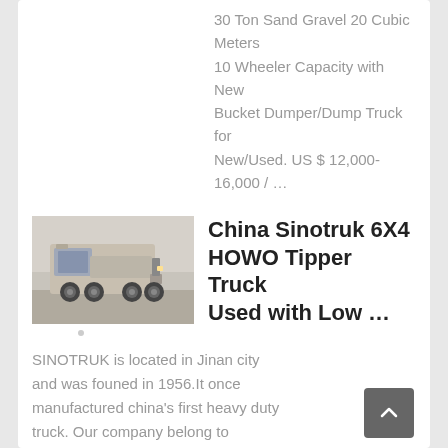30 Ton Sand Gravel 20 Cubic Meters 10 Wheeler Capacity with New Bucket Dumper/Dump Truck for New/Used. US $ 12,000-16,000 / …
learn More
[Figure (photo): White Sinotruk HOWO heavy duty truck, 6x4 configuration, photographed from front-left angle on a road]
China Sinotruk 6X4 HOWO Tipper Truck Used with Low …
SINOTRUK is located in Jinan city and was founed in 1956.It once manufactured china's first heavy duty truck. Our company belong to SINOTRUK sales department and we